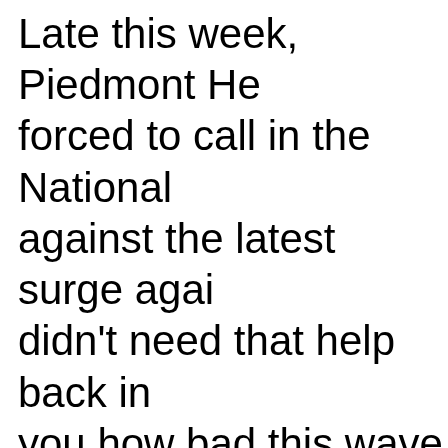Late this week, Piedmont He forced to call in the National against the latest surge agai didn't need that help back in you how bad this wave is. Ac report, they are booked to 12 the Emergency Room waitin temporary overflow COVID-p
(Side note: They say that mo ill with the Delta variant were wonder what the overlap is i